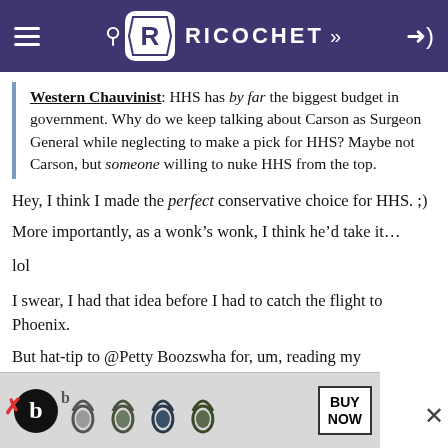RICOCHET
Western Chauvinist: HHS has by far the biggest budget in government. Why do we keep talking about Carson as Surgeon General while neglecting to make a pick for HHS? Maybe not Carson, but someone willing to nuke HHS from the top.
Hey, I think I made the perfect conservative choice for HHS. ;)
More importantly, as a wonk's wonk, I think he'd take it...
lol
I swear, I had that idea before I had to catch the flight to Phoenix.
But hat-tip to @Petty Boozswha for, um, reading my
[Figure (screenshot): Beats headphones advertisement banner with BUY NOW button]